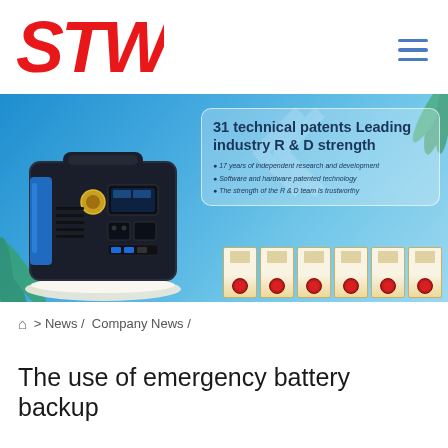[Figure (logo): STW company logo in red italic bold font]
[Figure (photo): Banner image showing a portable power station/emergency battery backup unit on a white platform, with text '31 technical patents Leading industry R & D strength' and bullet points about independent research, software/hardware patented technology, and R&D team trustworthiness. Six patent certificates shown at the bottom right.]
⌂ > News / Company News /
The use of emergency battery backup